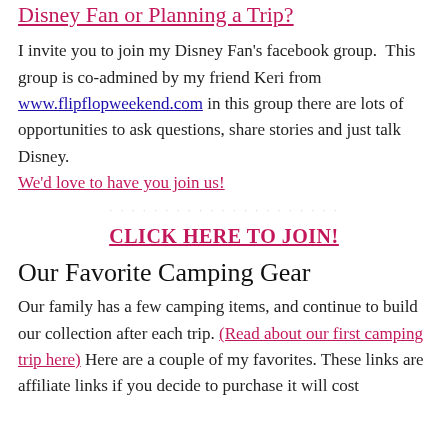Disney Fan or Planning a Trip?
I invite you to join my Disney Fan's facebook group.  This group is co-admined by my friend Keri from www.flipflopweekend.com in this group there are lots of opportunities to ask questions, share stories and just talk Disney. We'd love to have you join us!
CLICK HERE TO JOIN!
Our Favorite Camping Gear
Our family has a few camping items, and continue to build our collection after each trip. (Read about our first camping trip here) Here are a couple of my favorites. These links are affiliate links if you decide to purchase it will cost